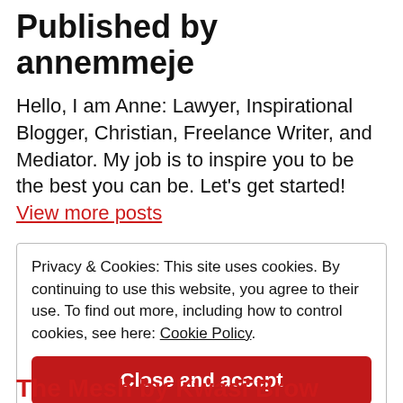Published by annemmeje
Hello, I am Anne: Lawyer, Inspirational Blogger, Christian, Freelance Writer, and Mediator. My job is to inspire you to be the best you can be. Let's get started! View more posts
Privacy & Cookies: This site uses cookies. By continuing to use this website, you agree to their use. To find out more, including how to control cookies, see here: Cookie Policy
Close and accept
The Mesh by Kwasi Brow